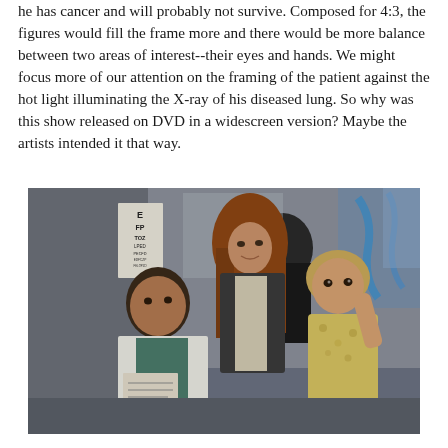he has cancer and will probably not survive. Composed for 4:3, the figures would fill the frame more and there would be more balance between two areas of interest--their eyes and hands. We might focus more of our attention on the framing of the patient against the hot light illuminating the X-ray of his diseased lung. So why was this show released on DVD in a widescreen version? Maybe the artists intended it that way.
[Figure (photo): A medical scene showing a doctor in a white coat writing notes, a woman with long auburn hair standing behind him, and a young child in a yellow floral outfit on the right side of the frame. Medical equipment and an eye chart are visible in the background.]